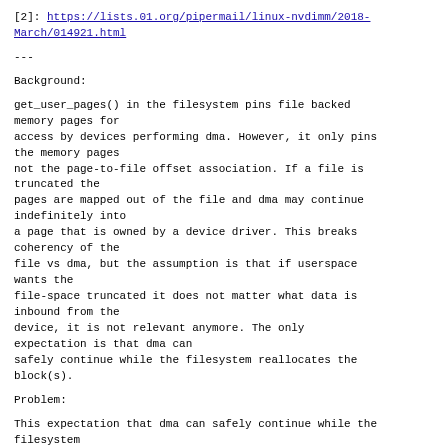[2]: https://lists.01.org/pipermail/linux-nvdimm/2018-March/014921.html
---
Background:
get_user_pages() in the filesystem pins file backed memory pages for
access by devices performing dma. However, it only pins the memory pages
not the page-to-file offset association. If a file is truncated the
pages are mapped out of the file and dma may continue indefinitely into
a page that is owned by a device driver. This breaks coherency of the
file vs dma, but the assumption is that if userspace wants the
file-space truncated it does not matter what data is inbound from the
device, it is not relevant anymore. The only expectation is that dma can
safely continue while the filesystem reallocates the block(s).
Problem:
This expectation that dma can safely continue while the filesystem
reallocates the block(s).